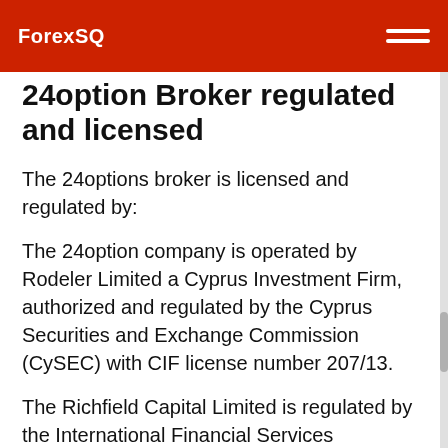ForexSQ
24option Broker regulated and licensed
The 24options broker is licensed and regulated by:
The 24option company is operated by Rodeler Limited a Cyprus Investment Firm, authorized and regulated by the Cyprus Securities and Exchange Commission (CySEC) with CIF license number 207/13.
The Richfield Capital Limited is regulated by the International Financial Services Commission of Belize with license number IFSC/60/440/TS/17.
24options Broker